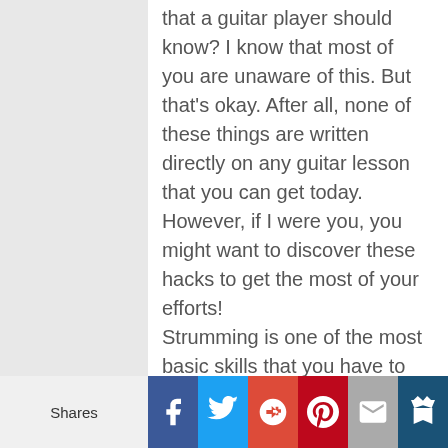that a guitar player should know? I know that most of you are unaware of this. But that's okay. After all, none of these things are written directly on any guitar lesson that you can get today.
However, if I were you, you might want to discover these hacks to get the most of your efforts!
Strumming is one of the most basic skills that you have to learn when playing the guitar. In fact, it should be
Shares | Facebook | Twitter | Google+ | Pinterest | Mail | Crown